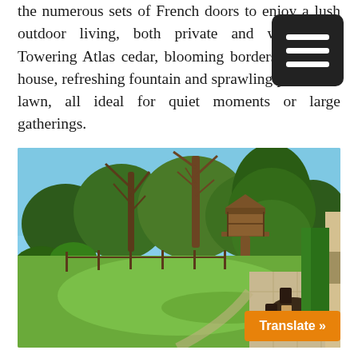the numerous sets of French doors to enjoy a lush outdoor living, both private and welcoming. Towering Atlas cedar, blooming borders, tree house, refreshing fountain and sprawling patios and lawn, all ideal for quiet moments or large gatherings.
[Figure (photo): Outdoor backyard photo showing a lush green lawn, large bare trees, a wooden treehouse structure, patio furniture including table and chairs, brick retaining wall, hedges, and blue sky. A translate button overlay appears in the bottom right corner.]